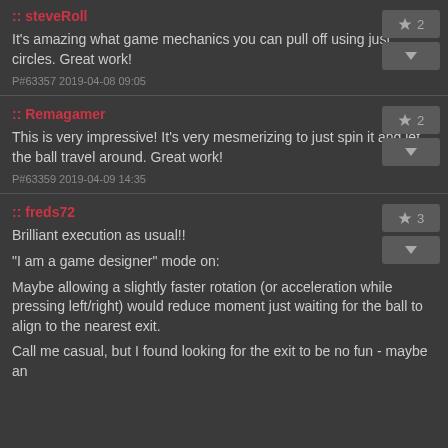:: steveRoll
It's amazing what game mechanics you can pull off using just circles. Great work!
P#63357 2019-04-08 09:05
:: Remagamer
This is very impressive! It's very mesmerizing to just spin it and let the ball travel around. Great work!
P#63359 2019-04-09 14:35
:: freds72
Brilliant execution as usual!!
"I am a game designer" mode on:
Maybe allowing a slightly faster rotation (or acceleration while pressing left/right) would reduce moment just waiting for the ball to align to the nearest exit.
Call me casual, but I found looking for the exit to be no fun - maybe an